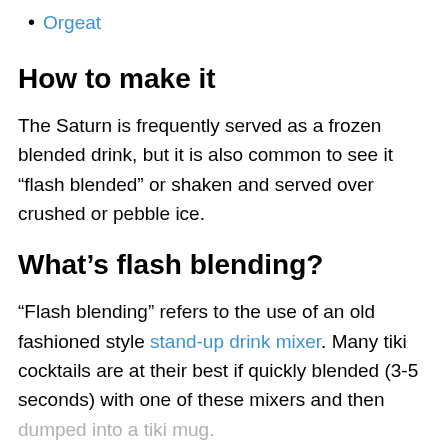Orgeat
How to make it
The Saturn is frequently served as a frozen blended drink, but it is also common to see it “flash blended” or shaken and served over crushed or pebble ice.
What’s flash blending?
“Flash blending” refers to the use of an old fashioned style stand-up drink mixer. Many tiki cocktails are at their best if quickly blended (3-5 seconds) with one of these mixers and then dumped into a tiki mug.